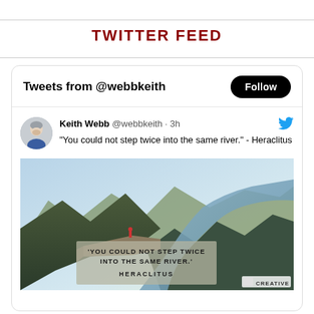TWITTER FEED
[Figure (screenshot): Twitter feed widget showing tweets from @webbkeith. Header: 'Tweets from @webbkeith' with a Follow button. Tweet by Keith Webb @webbkeith · 3h with Twitter bird icon: '"You could not step twice into the same river." - Heraclitus'. Below the tweet text is an image of a mountain river scene with text overlay 'YOU COULD NOT STEP TWICE INTO THE SAME RIVER.' HERACLITUS' and a Creative logo in the bottom right.]